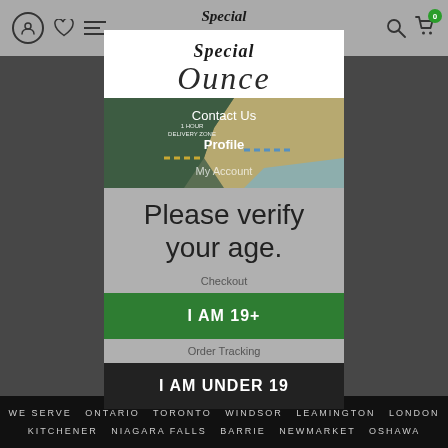Special Ounce — navigation bar with profile, wishlist, menu, search, and cart icons
[Figure (screenshot): Age verification modal overlay on Special Ounce cannabis delivery website. Contains logo, map image showing delivery zones, 'Please verify your age.' text, and two buttons: 'I AM 19+' (green) and 'I AM UNDER 19' (dark). Navigation links Contact Us, Profile, My Account, Checkout, Order Tracking visible behind modal.]
WE SERVE  ONTARIO  TORONTO  WINDSOR  LEAMINGTON  LONDON  KITCHENER  NIAGARA FALLS  BARRIE  NEWMARKET  OSHAWA